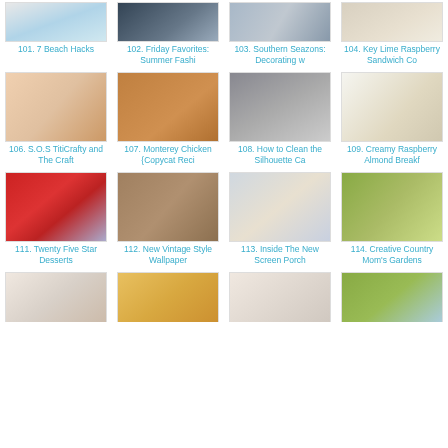[Figure (other): Grid of blog post thumbnail images with numbered titles, items 101-118+]
101. 7 Beach Hacks
102. Friday Favorites: Summer Fashi
103. Southern Seazons: Decorating w
104. Key Lime Raspberry Sandwich Co
106. S.O.S TitiCrafty and The Craft
107. Monterey Chicken {Copycat Reci
108. How to Clean the Silhouette Ca
109. Creamy Raspberry Almond Breakf
111. Twenty Five Star Desserts
112. New Vintage Style Wallpaper
113. Inside The New Screen Porch
114. Creative Country Mom's Gardens